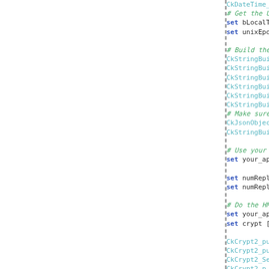[Figure (screenshot): Code snippet showing TCL/Tk scripting code with syntax highlighting. Left panel is blank white. Right panel shows lines of code including CkDateTime_Se, comment '# Get the UTC', 'set bLocalTim', 'set unixEpoch', comment '# Build the s', CkStringBuild lines, comment '# Make sure t', CkJsonObject_ and CkStringBuild lines, comment '# Use your AP', 'set your_api_', 'set numReplac' lines, comment '# Do the HMAC', 'set your_api_', 'set crypt [ne' with link, CkCrypt2_put_, CkCrypt2_put_, CkCrypt2_SetM, CkCrypt2_... lines. A vertical dashed divider separates the two panels.]